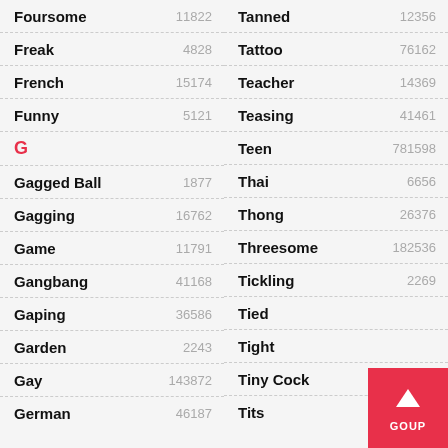| Term | Count | Term | Count |
| --- | --- | --- | --- |
| Foursome | 11822 | Tanned | 12356 |
| Freak | 4828 | Tattoo | 76162 |
| French | 15174 | Teacher | 14369 |
| Funny | 5121 | Teasing | 41461 |
| G |  | Teen | 781598 |
| Gagged Ball | 1877 | Thai | 6656 |
| Gagging | 16762 | Thong | 26376 |
| Game | 11791 | Threesome | 182536 |
| Gangbang | 41168 | Tickling | 2269 |
| Gaping | 36586 | Tied |  |
| Garden | 2243 | Tight |  |
| Gay | 143872 | Tiny Cock | 15763 |
| German | 46187 | Tits | 771094 |